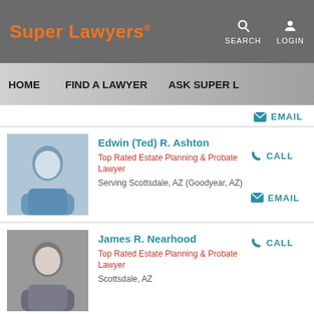[Figure (screenshot): Super Lawyers website header with orange logo text and gray background, showing SEARCH and LOGIN icons]
HOME   FIND A LAWYER   ASK SUPER L...
EMAIL
Edwin (Ted) R. Ashton
Top Rated Estate Planning & Probate Lawyer
Serving Scottsdale, AZ (Goodyear, AZ)
CALL
EMAIL
James R. Nearhood
Top Rated Estate Planning & Probate Lawyer
Scottsdale, AZ
CALL